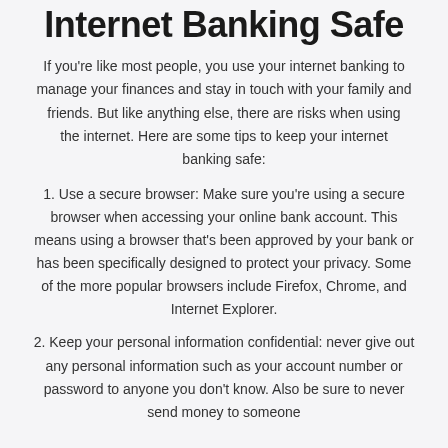Internet Banking Safe
If you’re like most people, you use your internet banking to manage your finances and stay in touch with your family and friends. But like anything else, there are risks when using the internet. Here are some tips to keep your internet banking safe:
1. Use a secure browser: Make sure you’re using a secure browser when accessing your online bank account. This means using a browser that’s been approved by your bank or has been specifically designed to protect your privacy. Some of the more popular browsers include Firefox, Chrome, and Internet Explorer.
2. Keep your personal information confidential: never give out any personal information such as your account number or password to anyone you don’t know. Also be sure to never send money to someone